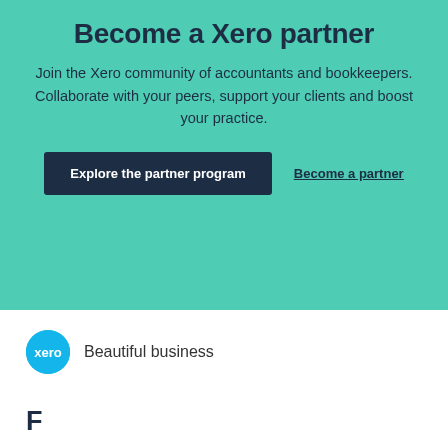Become a Xero partner
Join the Xero community of accountants and bookkeepers. Collaborate with your peers, support your clients and boost your practice.
Explore the partner program
Become a partner
[Figure (logo): Xero circular blue logo with white 'xero' text]
Beautiful business
F…